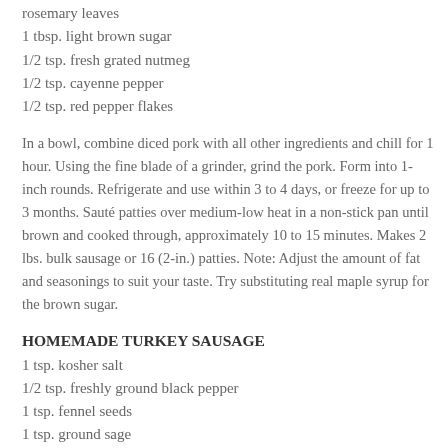rosemary leaves
1 tbsp. light brown sugar
1/2 tsp. fresh grated nutmeg
1/2 tsp. cayenne pepper
1/2 tsp. red pepper flakes
In a bowl, combine diced pork with all other ingredients and chill for 1 hour. Using the fine blade of a grinder, grind the pork. Form into 1-inch rounds. Refrigerate and use within 3 to 4 days, or freeze for up to 3 months. Sauté patties over medium-low heat in a non-stick pan until brown and cooked through, approximately 10 to 15 minutes. Makes 2 lbs. bulk sausage or 16 (2-in.) patties. Note: Adjust the amount of fat and seasonings to suit your taste. Try substituting real maple syrup for the brown sugar.
HOMEMADE TURKEY SAUSAGE
1 tsp. kosher salt
1/2 tsp. freshly ground black pepper
1 tsp. fennel seeds
1 tsp. ground sage
1 lb. ground turkey
2 tbsp. maple syrup